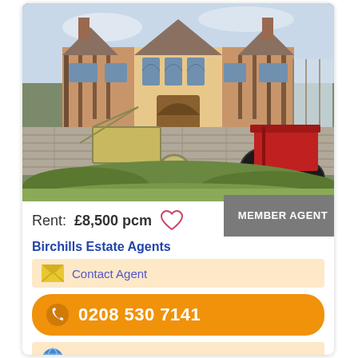[Figure (photo): Exterior photo of a large Tudor/Elizabethan style manor house with brick and timber framing, arched wooden doors, multiple chimneys, and stone paving with two antique cycle-rickshaws parked in front, green lawn hedge in foreground]
Rent: £8,500 pcm
MEMBER AGENT
Birchills Estate Agents
Contact Agent
0208 530 7141
Agent's website